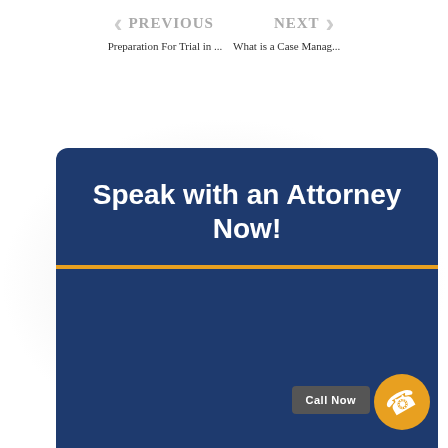PREVIOUS  Preparation For Trial in ...    NEXT  What is a Case Manag...
[Figure (infographic): Dark navy blue card with heading 'Speak with an Attorney Now!' separated by an orange horizontal line, with a call-to-action button 'Call Now' and an orange phone icon circle in the bottom right corner.]